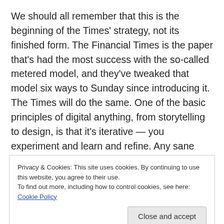We should all remember that this is the beginning of the Times' strategy, not its finished form. The Financial Times is the paper that's had the most success with the so-called metered model, and they've tweaked that model six ways to Sunday since introducing it. The Times will do the same. One of the basic principles of digital anything, from storytelling to design, is that it's iterative — you experiment and learn and refine. Any sane paid-access plans will be iterative too — yet the Times' first attempt was treated as if it had been handed down from Mount Sulzberger carved in stone.
Privacy & Cookies: This site uses cookies. By continuing to use this website, you agree to their use. To find out more, including how to control cookies, see here: Cookie Policy
Close and accept